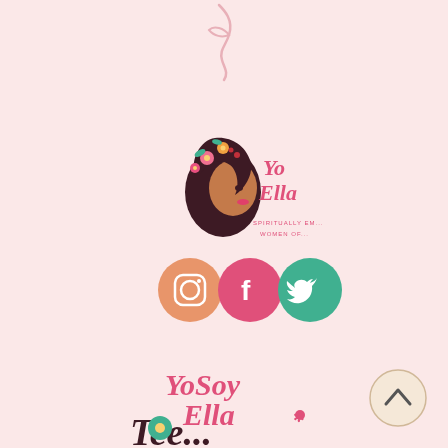[Figure (illustration): Decorative script/cursive letter or flourish in light pink at the top of the page]
[Figure (logo): YoSoy Ella logo featuring a profile illustration of a woman with flowers in her hair (dark hair, brown skin, colorful flowers in pink, orange, teal) and the text 'Yo Ella' in pink script with 'SPIRITUALLY EM... WOMEN OF...' tagline below]
[Figure (infographic): Three social media icon circles in a row: Instagram (peach/salmon circle), Facebook (hot pink circle), Twitter (teal circle)]
[Figure (logo): YoSoy Ella script logo in pink at the bottom of the page with partial text below it]
[Figure (illustration): Circular back-to-top button (chevron up arrow) in bottom right corner with beige/cream background]